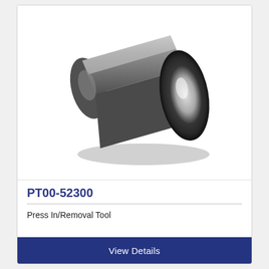[Figure (illustration): 3D isometric illustration of a hollow cylindrical sleeve/bushing tool (Press In/Removal Tool PT00-52300). The cylinder is oriented diagonally with the open hollow end facing the viewer at the lower right. The body is dark gray/charcoal with a lighter gradient highlight on the top surface, and the hollow interior shows a bright metallic reflection.]
PT00-52300
Press In/Removal Tool
View Details